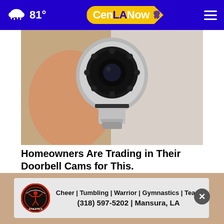CenLA Now — 81° weather navigation bar
[Figure (photo): Close-up photo of a person holding a small security camera (bulb-style, silver with black lens and multiple LEDs), viewed from above against a light background.]
Homeowners Are Trading in Their Doorbell Cams for This.
Keilini.com
[Figure (logo): Cabin Pride Athletics logo — circular badge with red and black design, cheerleader figure in center.]
Cheer | Tumbling | Warrior | Gymnastics | Team
(318) 597-5202 | Mansura, LA